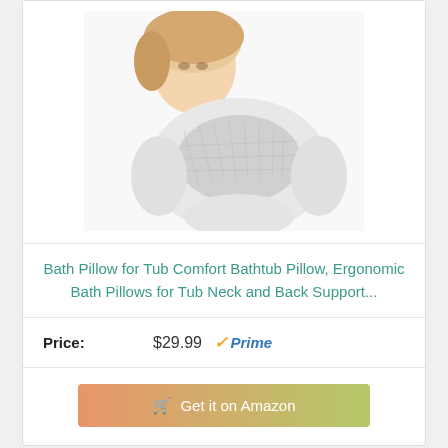[Figure (photo): Product photo of a white ergonomic bath pillow with mesh texture, shown with a woman relaxing in a bathtub in the background]
Bath Pillow for Tub Comfort Bathtub Pillow, Ergonomic Bath Pillows for Tub Neck and Back Support...
Price: $29.99 ✓Prime
Get it on Amazon
Bestseller No. 6